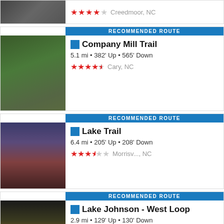[Figure (screenshot): Partial trail card showing 4 red stars and Creedmoor, NC location]
[Figure (screenshot): Recommended Route card: Company Mill Trail, forest photo, 5.1 mi, 382' Up, 565' Down, 4.5 stars, Cary NC]
[Figure (screenshot): Recommended Route card: Lake Trail, lake sunset photo, 6.4 mi, 205' Up, 208' Down, 3.5 stars, Morrisville NC]
[Figure (screenshot): Recommended Route card: Lake Johnson - West Loop, sunset lake photo, 2.9 mi, 129' Up, 130' Down, 3.5 stars, West Raleigh NC]
About · Free Stickers · Widgets · Help
Share Your Trails & Photos · Top Contributors · Clubs
Download on the App Store | GET IT ON Google Play